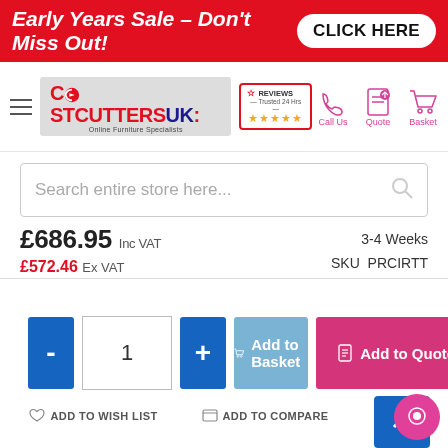Early Years Sale – Don't Miss Out! CLICK HERE
[Figure (logo): CostCuttersUK logo with Reviews badge and navigation icons (Call Us, Quote, Basket)]
Search entire store here...
£686.95 Inc VAT   3-4 Weeks   SKU PRCIRTT
£572.46 Ex VAT
- 1 + Add to Basket  Add to Quote
ADD TO WISH LIST   ADD TO COMPARE